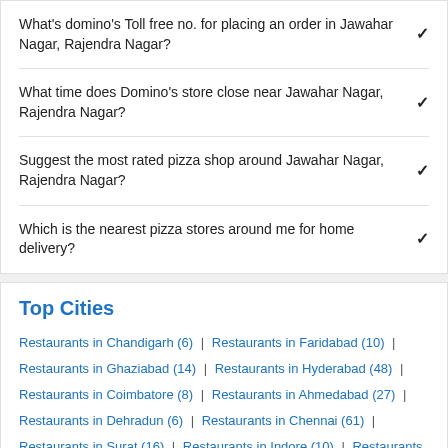What's domino's Toll free no. for placing an order in Jawahar Nagar, Rajendra Nagar?
What time does Domino's store close near Jawahar Nagar, Rajendra Nagar?
Suggest the most rated pizza shop around Jawahar Nagar, Rajendra Nagar?
Which is the nearest pizza stores around me for home delivery?
Top Cities
Restaurants in Chandigarh (6) | Restaurants in Faridabad (10) | Restaurants in Ghaziabad (14) | Restaurants in Hyderabad (48) | Restaurants in Coimbatore (8) | Restaurants in Ahmedabad (27) | Restaurants in Dehradun (6) | Restaurants in Chennai (61) | Restaurants in Surat (16) | Restaurants in Indore (10) | Restaurants in Kolkata (38) | Restaurants in Noida (17) | Restaurants in Gurgaon (22) | Restaurants in Vadodara (11) | Restaurants in Ludhiana (6)